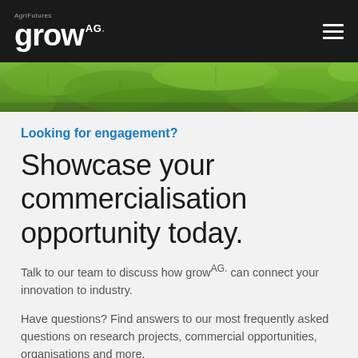AgriFutures grow AG.
[Figure (photo): Aerial/close-up photo of green leafy plants/crops in a field]
Looking for engagement?
Showcase your commercialisation opportunity today.
Talk to our team to discuss how grow AG. can connect your innovation to industry.
Have questions? Find answers to our most frequently asked questions on research projects, commercial opportunities, organisations and more.